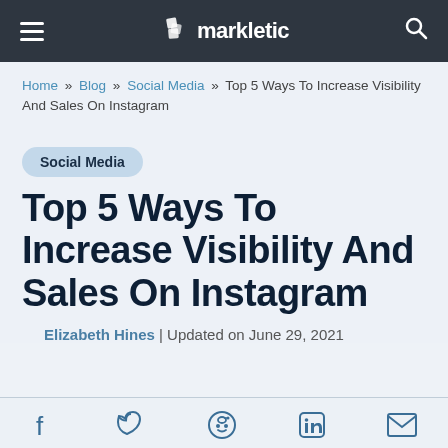markletic
Home » Blog » Social Media » Top 5 Ways To Increase Visibility And Sales On Instagram
Social Media
Top 5 Ways To Increase Visibility And Sales On Instagram
Elizabeth Hines | Updated on June 29, 2021
[Figure (other): Social share icons: Facebook, Twitter, Reddit, LinkedIn, Email]